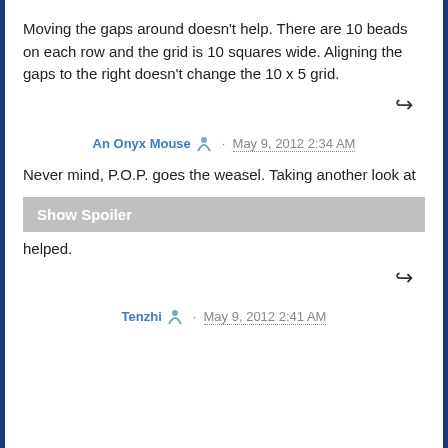Moving the gaps around doesn't help. There are 10 beads on each row and the grid is 10 squares wide. Aligning the gaps to the right doesn't change the 10 x 5 grid.
An Onyx Mouse · May 9, 2012 2:34 AM
Never mind, P.O.P. goes the weasel. Taking another look at
Show Spoiler
helped.
Tenzhi · May 9, 2012 2:41 AM